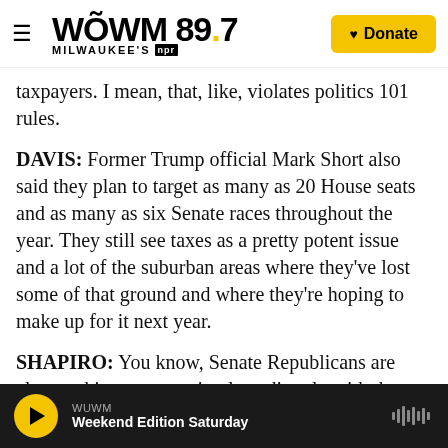WUWM 89.7 Milwaukee's NPR | Donate
taxpayers. I mean, that, like, violates politics 101 rules.
DAVIS: Former Trump official Mark Short also said they plan to target as many as 20 House seats and as many as six Senate races throughout the year. They still see taxes as a pretty potent issue and a lot of the suburban areas where they've lost some of that ground and where they're hoping to make up for it next year.
SHAPIRO: You know, Senate Republicans are also working a competing lane directly with the White House on a possible bipartisan infrastructure plan
WUWM | Weekend Edition Saturday